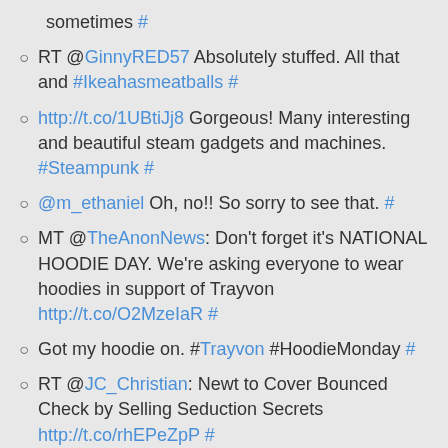sometimes #
RT @GinnyRED57 Absolutely stuffed. All that and #Ikeahasmeatballs #
http://t.co/1UBtiJj8 Gorgeous! Many interesting and beautiful steam gadgets and machines. #Steampunk #
@m_ethaniel Oh, no!! So sorry to see that. #
MT @TheAnonNews: Don't forget it's NATIONAL HOODIE DAY. We're asking everyone to wear hoodies in support of Trayvon http://t.co/O2MzeIaR #
Got my hoodie on. #Trayvon #HoodieMonday #
RT @JC_Christian: Newt to Cover Bounced Check by Selling Seduction Secrets http://t.co/rhEPeZpP #